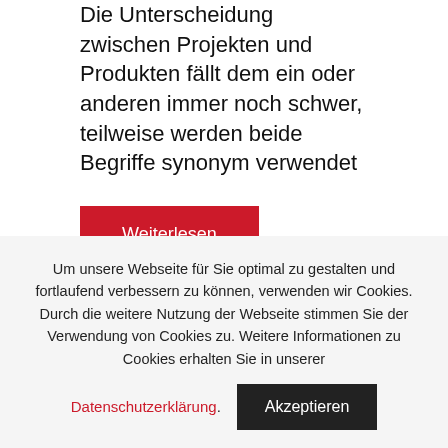Die Unterscheidung zwischen Projekten und Produkten fällt dem ein oder anderen immer noch schwer, teilweise werden beide Begriffe synonym verwendet
Weiterlesen
Projektmanagement
Kommentar hinterlassen
Um unsere Webseite für Sie optimal zu gestalten und fortlaufend verbessern zu können, verwenden wir Cookies. Durch die weitere Nutzung der Webseite stimmen Sie der Verwendung von Cookies zu. Weitere Informationen zu Cookies erhalten Sie in unserer
Datenschutzerklärung.
Akzeptieren